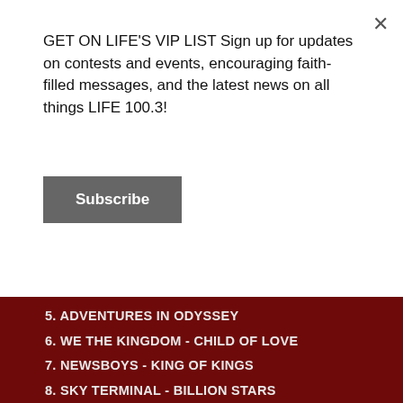GET ON LIFE'S VIP LIST Sign up for updates on contests and events, encouraging faith-filled messages, and the latest news on all things LIFE 100.3!
Subscribe
5. ADVENTURES IN ODYSSEY
6. WE THE KINGDOM - CHILD OF LOVE
7. NEWSBOYS - KING OF KINGS
8. SKY TERMINAL - BILLION STARS
9. JEREMY CAMP - SAME POWER
10. BIG DADDY WEAVE - THIS IS WHAT WE LIVE FOR
Social icons: Facebook, YouTube, Instagram, Apple, Android